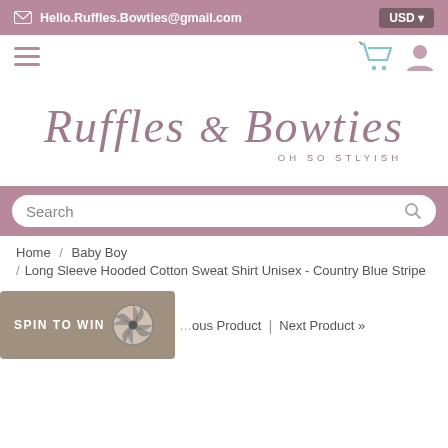Hello.Ruffles.Bowties@gmail.com  USD
[Figure (logo): Ruffles & Bowties OH SO STLYISH logo in cursive script, mauve/dusty rose color]
Search
Home / Baby Boy / Long Sleeve Hooded Cotton Sweat Shirt Unisex - Country Blue Stripe
SPIN TO WIN
Previous Product | Next Product »